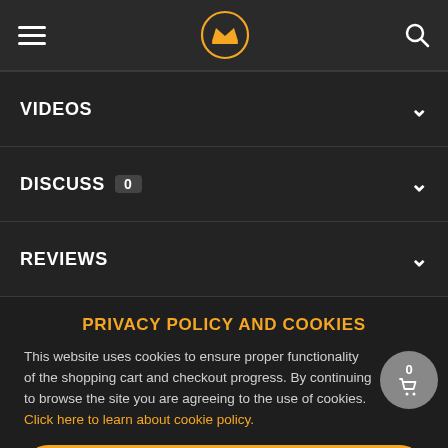Navigation header with hamburger menu, crown logo, and search icon
VIDEOS
DISCUSS 0
REVIEWS
PRIVACY POLICY AND COOKIES
This website uses cookies to ensure proper functionality of the shopping cart and checkout progress. By continuing to browse the site you are agreeing to the use of cookies. Click here to learn about cookie policy.
ACCEPT AND CLOSE ✕